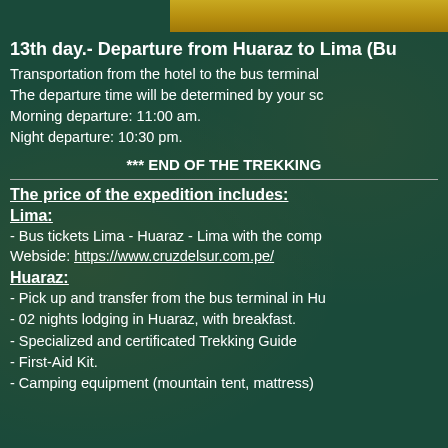[Figure (photo): Sandy/earthy textured background strip at top of page]
13th day.- Departure from Huaraz to Lima (Bu
Transportation from the hotel to the bus terminal
The departure time will be determined by your sc
Morning departure: 11:00 am.
Night departure: 10:30 pm.
*** END OF THE TREKKING
The price of the expedition includes:
Lima:
- Bus tickets Lima - Huaraz - Lima with the comp
Webside: https://www.cruzdelsur.com.pe/
Huaraz:
- Pick up and transfer from the bus terminal in Hu
- 02 nights lodging in Huaraz, with breakfast.
- Specialized and certificated Trekking Guide
- First-Aid Kit.
- Camping equipment (mountain tent, mattress)